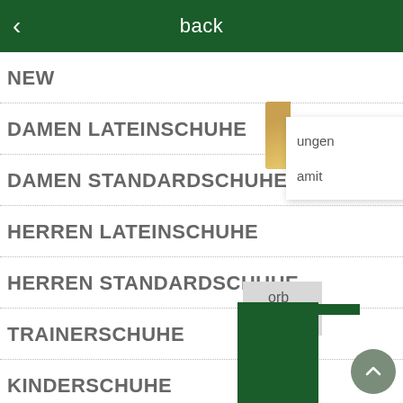back
NEW
DAMEN LATEINSCHUHE
DAMEN STANDARDSCHUHE
HERREN LATEINSCHUHE
HERREN STANDARDSCHUHE
TRAINERSCHUHE
KINDERSCHUHE
CLEARANCE SALE
[Figure (screenshot): Partial overlay popup with text 'ungen' and 'amit', partially visible shoe product image in gold/tan color, dark green navigation bars at bottom right, cart label 'orb', and a circular scroll-to-top button with upward chevron]